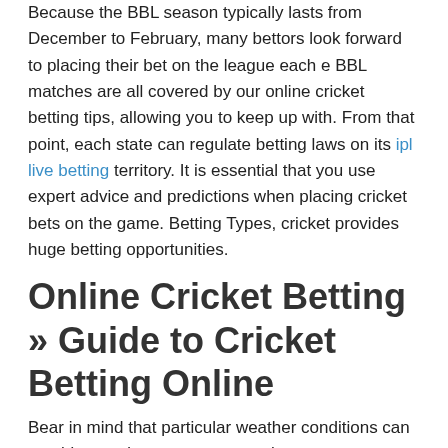Because the BBL season typically lasts from December to February, many bettors look forward to placing their bet on the league each e BBL matches are all covered by our online cricket betting tips, allowing you to keep up with. From that point, each state can regulate betting laws on its ipl live betting territory. It is essential that you use expert advice and predictions when placing cricket bets on the game. Betting Types, cricket provides huge betting opportunities.
Online Cricket Betting » Guide to Cricket Betting Online
Bear in mind that particular weather conditions can provide an advantage to some players.
India's #1, online, cricket, betting, site An up-to-date list of the best cricket ipl indian premier league live betting satta and sites ipl t20 cricket live for cricket betting online! However, depending on the match type, you should check how the game is settled. Due to this Sports specifics, you can explore different markets that feature various levels of payout.